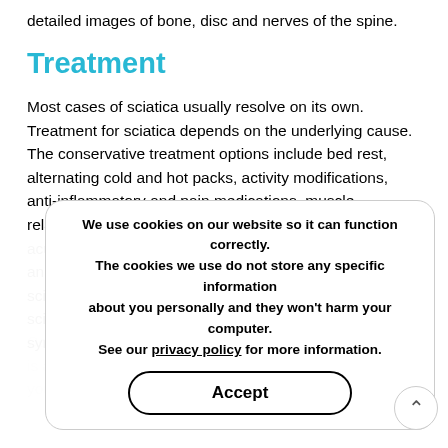detailed images of bone, disc and nerves of the spine.
Treatment
Most cases of sciatica usually resolve on its own. Treatment for sciatica depends on the underlying cause. The conservative treatment options include bed rest, alternating cold and hot packs, activity modifications, anti-inflammatory and pain medications, muscle relaxants, spinal injections, braces, physical therapy, and acupuncture. In addition, changing certain lifestyle habits and adapting healthy spine habits can help reduce sciatica symptoms and possibly prevent a relapse of sciatica. Spine surgery may be considered if the symptoms persist despite non-surgical treatment.
Consulting your doctor for more information. Your doctor is available source to answer all your questions and help you understand the condition better.
We use cookies on our website so it can function correctly. The cookies we use do not store any specific information about you personally and they won't harm your computer. See our privacy policy for more information.
Accept